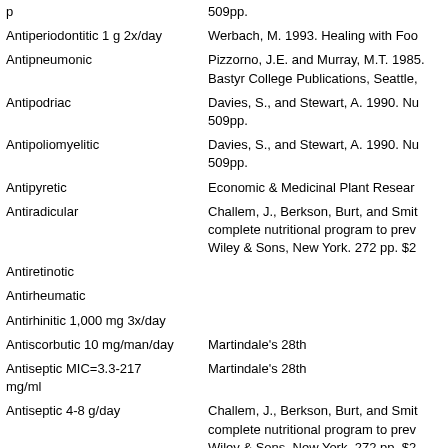| Activity/Dosage | Reference |
| --- | --- |
| p | 509pp. |
| Antiperiodontitic 1 g 2x/day | Werbach, M. 1993. Healing with Foo |
| Antipneumonic | Pizzorno, J.E. and Murray, M.T. 1985. Bastyr College Publications, Seattle, |
| Antipodriac | Davies, S., and Stewart, A. 1990. Nu 509pp. |
| Antipoliomyelitic | Davies, S., and Stewart, A. 1990. Nu 509pp. |
| Antipyretic | Economic & Medicinal Plant Resear |
| Antiradicular | Challem, J., Berkson, Burt, and Smit complete nutritional program to prev Wiley & Sons, New York. 272 pp. $2 |
| Antiretinotic |  |
| Antirheumatic |  |
| Antirhinitic 1,000 mg 3x/day |  |
| Antiscorbutic 10 mg/man/day | Martindale's 28th |
| Antiseptic MIC=3.3-217 mg/ml | Martindale's 28th |
| Antiseptic 4-8 g/day | Challem, J., Berkson, Burt, and Smit complete nutritional program to prev Wiley & Sons, New York. 272 pp. $2 |
| Antishingles | Davies, S., and Stewart, A. 1990. Nu 589 |